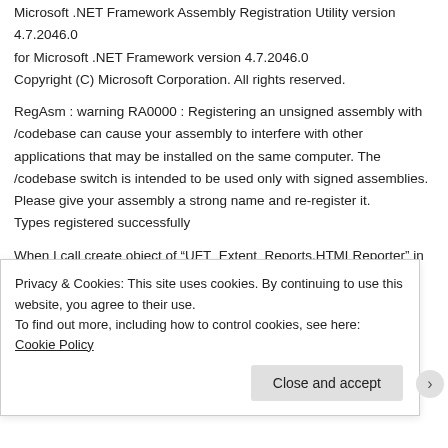Microsoft .NET Framework Assembly Registration Utility version 4.7.2046.0
for Microsoft .NET Framework version 4.7.2046.0
Copyright (C) Microsoft Corporation. All rights reserved.
RegAsm : warning RA0000 : Registering an unsigned assembly with /codebase can cause your assembly to interfere with other applications that may be installed on the same computer. The /codebase switch is intended to be used only with signed assemblies. Please give your assembly a strong name and re-register it.
Types registered successfully
When I call create object of “UFT_Extent_Reports.HTMLReporter” in UFT it showing error as “Expected statement”. Do I need to add
Privacy & Cookies: This site uses cookies. By continuing to use this website, you agree to their use.
To find out more, including how to control cookies, see here: Cookie Policy
Close and accept